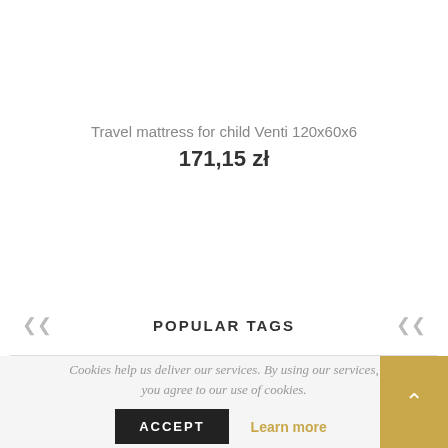Travel mattress for child Venti 120x60x6
171,15 zł
POPULAR TAGS
Cookies help us deliver our services. By using our services, you agree to our use of cookies.
ACCEPT
Learn more